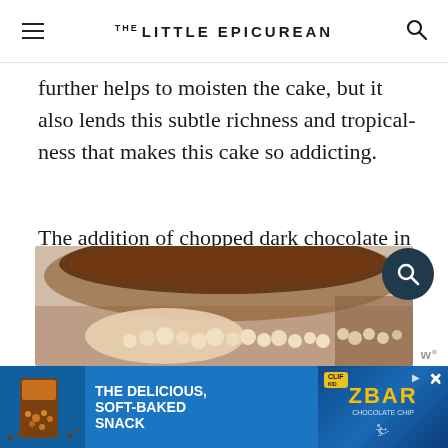THE LITTLE EPICUREAN
further helps to moisten the cake, but it also lends this subtle richness and tropical-ness that makes this cake so addicting.
The addition of chopped dark chocolate in between the chocolate caramel cream cheese frosting helps to make this cake taste SO AWESOME.
[Figure (photo): Close-up photo of a chocolate cake with cream/caramel topping and small round decorations, shot on a dark plate with a blurred background]
[Figure (other): Advertisement banner: THE DELICIOUS, SOFT-BAKED SNACK with ZBAR branding on blue background]